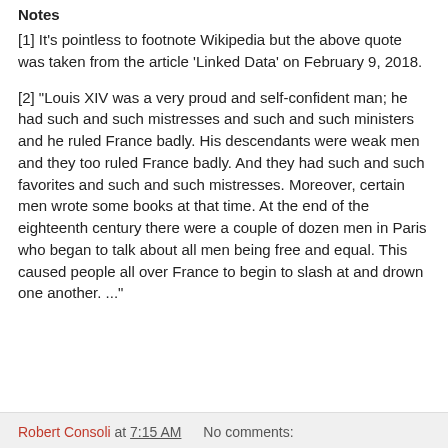Notes
[1] It's pointless to footnote Wikipedia but the above quote was taken from the article 'Linked Data' on February 9, 2018.
[2] "Louis XIV was a very proud and self-confident man; he had such and such mistresses and such and such ministers and he ruled France badly. His descendants were weak men and they too ruled France badly. And they had such and such favorites and such and such mistresses. Moreover, certain men wrote some books at that time. At the end of the eighteenth century there were a couple of dozen men in Paris who began to talk about all men being free and equal. This caused people all over France to begin to slash at and drown one another. ..."
Robert Consoli at 7:15 AM   No comments: